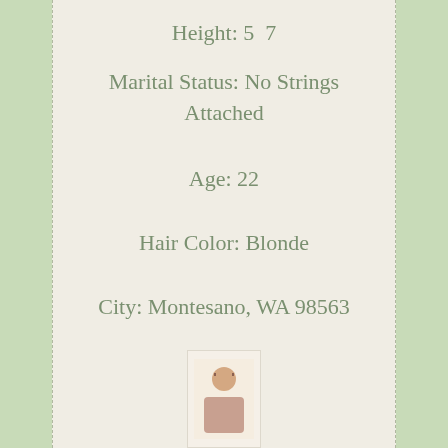Height: 5  7
Marital Status: No Strings Attached
Age: 22
Hair Color: Blonde
City: Montesano, WA 98563
[Figure (photo): Small thumbnail photo of a person]